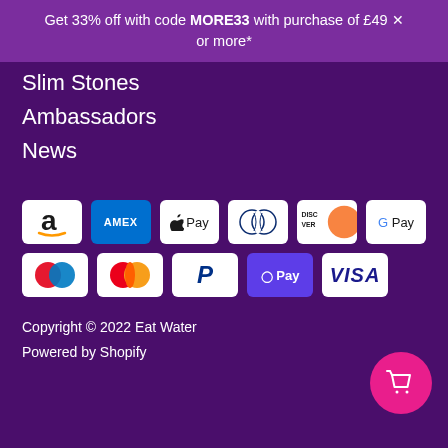Get 33% off with code MORE33 with purchase of £49 or more*
Slim Stones
Ambassadors
News
[Figure (logo): Payment method icons: Amazon, AMEX, Apple Pay, Diners Club, Discover, Google Pay, Maestro, Mastercard, PayPal, O Pay, VISA]
Copyright © 2022 Eat Water
Powered by Shopify